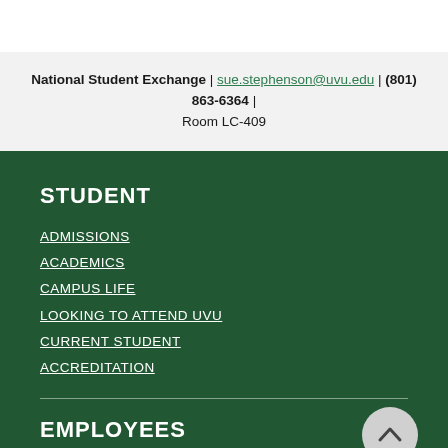National Student Exchange | sue.stephenson@uvu.edu | (801) 863-6364 | Room LC-409
STUDENT
ADMISSIONS
ACADEMICS
CAMPUS LIFE
LOOKING TO ATTEND UVU
CURRENT STUDENT
ACCREDITATION
EMPLOYEES
CAREER OPPORTUNITIES